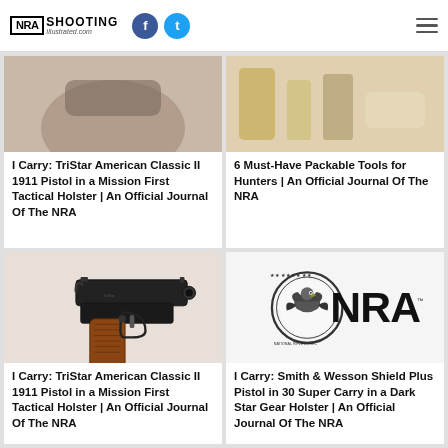NRA Shooting Illustrated | Social media icons | Hamburger menu
[Figure (photo): Partial view of a firearm/holster from top, cropped at top]
I Carry: TriStar American Classic II 1911 Pistol in a Mission First Tactical Holster | An Official Journal Of The NRA
[Figure (photo): Partial view of packable hunting tools from top, cropped at top]
6 Must-Have Packable Tools for Hunters | An Official Journal Of The NRA
[Figure (photo): TriStar American Classic II 1911 Pistol with wood grip on white background]
I Carry: TriStar American Classic II 1911 Pistol in a Mission First Tactical Holster | An Official Journal Of The NRA
[Figure (logo): NRA logo with eagle seal on left and bold NRA text on right]
I Carry: Smith & Wesson Shield Plus Pistol in 30 Super Carry in a Dark Star Gear Holster | An Official Journal Of The NRA